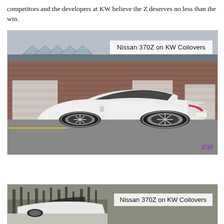competitors and the developers at KW believe the Z deserves no less than the win.
[Figure (photo): White Nissan 370Z on KW Coilovers, rear three-quarter view, parked in front of a brick building with garage doors. Photo has a KW logo watermark in the lower right corner. Image label reads 'Nissan 370Z on KW Coilovers'.]
[Figure (photo): Second photo of a Nissan 370Z on KW Coilovers, partially visible, with a wooded background. Image label reads 'Nissan 370Z on KW Coilovers'.]